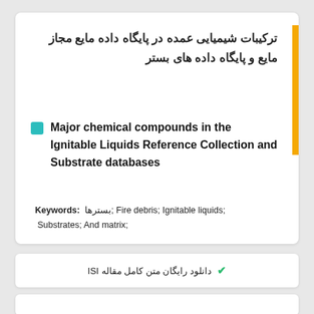ترکیبات شیمیایی عمده در پایگاه داده مایع مجاز مایع و پایگاه داده های بستر
Major chemical compounds in the Ignitable Liquids Reference Collection and Substrate databases
Keywords: بسترها; Fire debris; Ignitable liquids; Substrates; And matrix;
دانلود رایگان متن کامل مقاله ISI